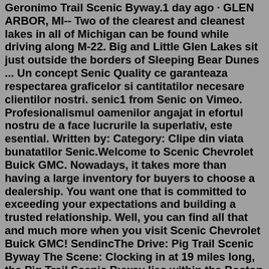Geronimo Trail Scenic Byway.1 day ago · GLEN ARBOR, MI-- Two of the clearest and cleanest lakes in all of Michigan can be found while driving along M-22. Big and Little Glen Lakes sit just outside the borders of Sleeping Bear Dunes ... Un concept Senic Quality ce garanteaza respectarea graficelor si cantitatilor necesare clientilor nostri. senic1 from Senic on Vimeo. Profesionalismul oamenilor angajat in efortul nostru de a face lucrurile la superlativ, este esential. Written by: Category: Clipe din viata bunatatilor Senic.Welcome to Scenic Chevrolet Buick GMC. Nowadays, it takes more than having a large inventory for buyers to choose a dealership. You want one that is committed to exceeding your expectations and building a trusted relationship. Well, you can find all that and much more when you visit Scenic Chevrolet Buick GMC! SendincThe Drive: Pig Trail Scenic Byway The Scene: Clocking in at 19 miles long, the Pig Trail Scenic Byway lies within the Boston Mountains region of the Arkansas Ozark Mountains.Some say the drive got its name because